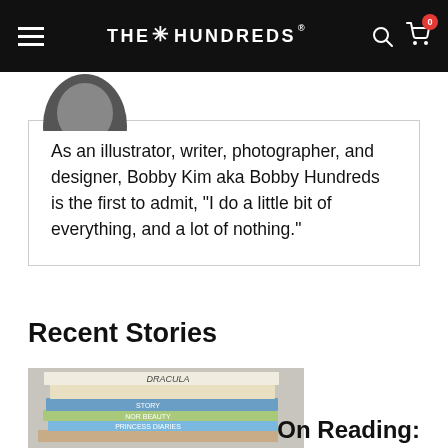THE HUNDREDS — navigation bar with hamburger menu, logo, search and cart icons (cart: 0)
As an illustrator, writer, photographer, and designer, Bobby Kim aka Bobby Hundreds is the first to admit, "I do a little bit of everything, and a lot of nothing."
Recent Stories
[Figure (photo): Stack of books including DRACULA and other titles, photographed from above at an angle]
On Reading: